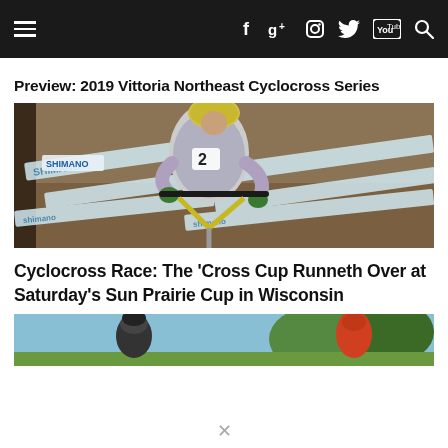Navigation bar with hamburger menu, social icons (Facebook, Google+, Instagram, Twitter, YouTube) and search
Preview: 2019 Vittoria Northeast Cyclocross Series
[Figure (photo): Cyclocross racer wearing number 2 competing on a dirt course with Shimano banners, leaning forward aggressively on a bike]
Cyclocross Race: The ‘Cross Cup Runneth Over at Saturday’s Sun Prairie Cup in Wisconsin
[Figure (photo): Partial image of cyclocross riders racing outdoors with trees in the background and blue sky, one rider in black and another in red]
X